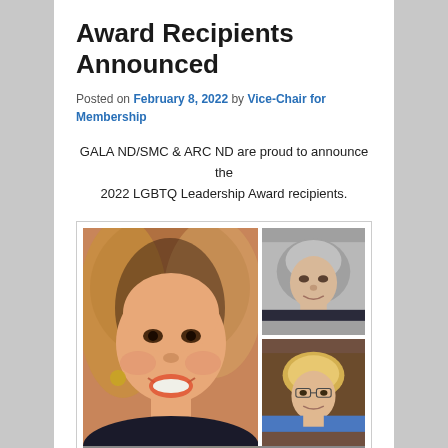Award Recipients Announced
Posted on February 8, 2022 by Vice-Chair for Membership
GALA ND/SMC & ARC ND are proud to announce the 2022 LGBTQ Leadership Award recipients.
[Figure (photo): Collage of award recipients: a smiling woman with brown highlighted hair (large, left), a man with grey hair (top right), a woman with blonde hair in blue top (middle right), and a man with grey hair (bottom right, partially visible).]